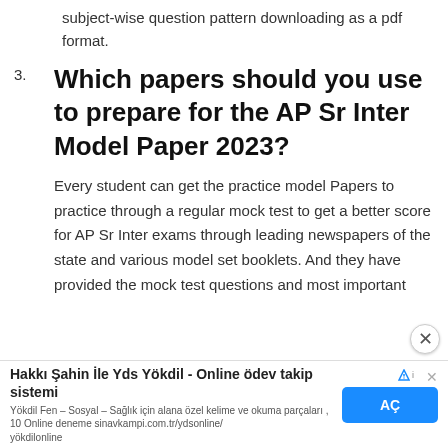subject-wise question pattern downloading as a pdf format.
3. Which papers should you use to prepare for the AP Sr Inter Model Paper 2023?
Every student can get the practice model Papers to practice through a regular mock test to get a better score for AP Sr Inter exams through leading newspapers of the state and various model set booklets. And they have provided the mock test questions and most important
Hakkı Şahin İle Yds Yökdil - Online ödev takip sistemi
Yökdil Fen – Sosyal – Sağlık için alana özel kelime ve okuma parçaları , 10 Online deneme sinavkampi.com.tr/ydsonline/yökdilonline